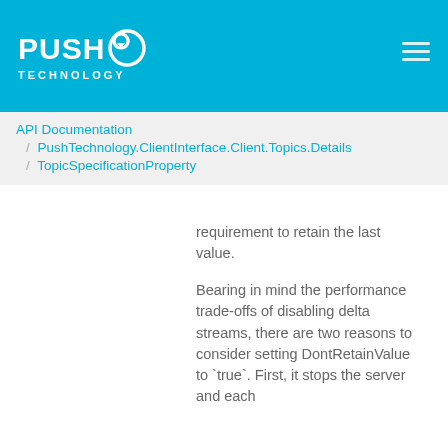PUSH TECHNOLOGY
API Documentation / PushTechnology.ClientInterface.Client.Topics.Details / TopicSpecificationProperty
requirement to retain the last value.
Bearing in mind the performance trade-offs of disabling delta streams, there are two reasons to consider setting DontRetainValue to `true`. First, it stops the server and each